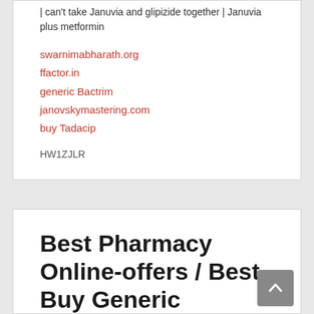| can't take Januvia and glipizide together | Januvia plus metformin
swarnimabharath.org
ffactor.in
generic Bactrim
janovskymastering.com
buy Tadacip
HW1ZJLR
Best Pharmacy Online-offers / Best Buy Generic Professional Viagra / Free Worldwide Delivery